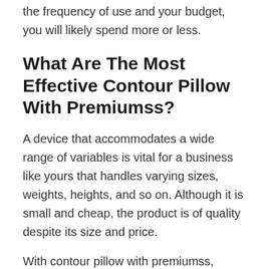the frequency of use and your budget, you will likely spend more or less.
What Are The Most Effective Contour Pillow With Premiumss?
A device that accommodates a wide range of variables is vital for a business like yours that handles varying sizes, weights, heights, and so on. Although it is small and cheap, the product is of quality despite its size and price.
With contour pillow with premiumss, today's office tasks can be performed in many ways.
Contour Pillow With Premiumss